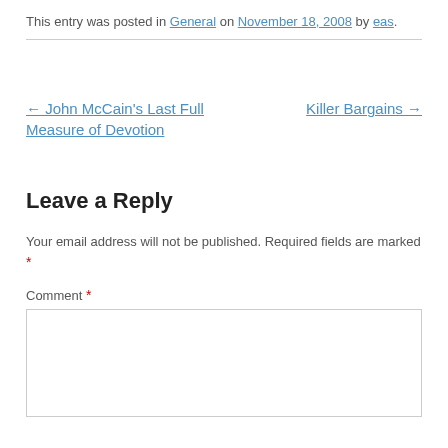This entry was posted in General on November 18, 2008 by eas.
← John McCain's Last Full Measure of Devotion
Killer Bargains →
Leave a Reply
Your email address will not be published. Required fields are marked *
Comment *